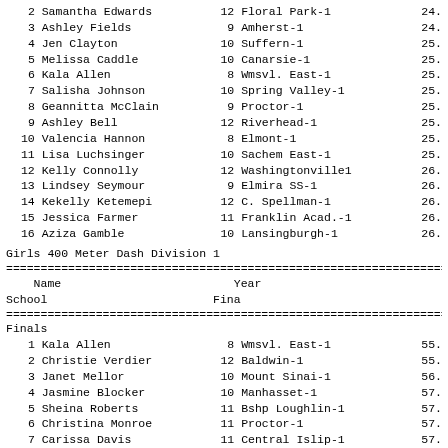| Place | Name | Year | School | Finals |
| --- | --- | --- | --- | --- |
| 2 | Samantha Edwards | 12 | Floral Park-1 | 24. |
| 3 | Ashley Fields | 9 | Amherst-1 | 24. |
| 4 | Jen Clayton | 10 | Suffern-1 | 25. |
| 5 | Melissa Caddle | 10 | Canarsie-1 | 25. |
| 6 | Kala Allen | 8 | Wmsvl. East-1 | 25. |
| 7 | Salisha Johnson | 10 | Spring Valley-1 | 25. |
| 8 | Geannitta McClain | 9 | Proctor-1 | 25. |
| 9 | Ashley Bell | 12 | Riverhead-1 | 25. |
| 10 | Valencia Hannon | 8 | Elmont-1 | 25. |
| 11 | Lisa Luchsinger | 10 | Sachem East-1 | 25. |
| 12 | Kelly Connolly | 12 | Washingtonville1 | 26. |
| 13 | Lindsey Seymour | 9 | Elmira SS-1 | 26. |
| 14 | Kekelly Ketemepi | 12 | C. Spellman-1 | 26. |
| 15 | Jessica Farmer | 11 | Franklin Acad.-1 | 26. |
| 16 | Aziza Gamble | 10 | Lansingburgh-1 | 26. |
Girls 400 Meter Dash Division 1
| Name | Year | School | Finals |
| --- | --- | --- | --- |
| Finals |  |  |  |
| 1 Kala Allen | 8 | Wmsvl. East-1 | 55. |
| 2 Christie Verdier | 12 | Baldwin-1 | 55. |
| 3 Janet Mellor | 10 | Mount Sinai-1 | 56. |
| 4 Jasmine Blocker | 10 | Manhasset-1 | 57. |
| 5 Sheina Roberts | 11 | Bshp Loughlin-1 | 57. |
| 6 Christina Monroe | 11 | Proctor-1 | 57. |
| 7 Carissa Davis | 11 | Central Islip-1 | 57. |
| 8 Dasia Jones | 11 | Newburgh-1 | 58. |
| 9 Brianna Cromartie | 11 | Aquinas Inst-1 | 58. |
| 10 Jessica Hennig | 11 | Pine Bush-1 | 58. |
| 11 Liz Schwennker | 12 | Guilderland-1 | 58. |
| 12 Heidy Palacios | 12 | Saunders-1 | 58. |
| 13 Sharisse Gaskin | 11 | East High Roc.-1 | 58. |
| 14 Karlin B... | 10 | Albany SS-1 | 58. |